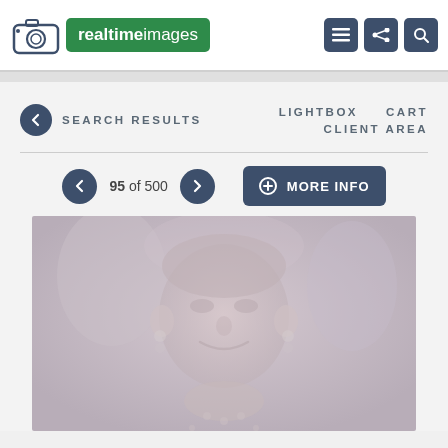[Figure (logo): Realtime Images logo with camera icon and green text box]
SEARCH RESULTS   LIGHTBOX   CART   CLIENT AREA
95 of 500
MORE INFO
[Figure (photo): Faded/washed out photo of a person smiling, low contrast]